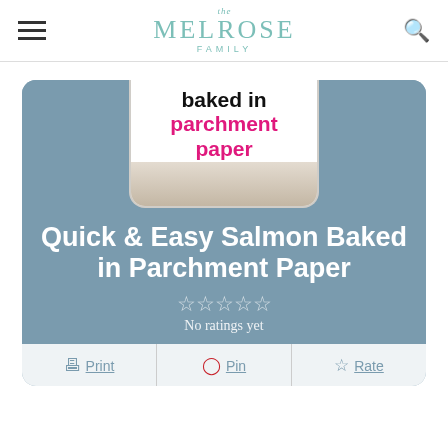The Melrose Family
[Figure (screenshot): Recipe card preview image showing 'baked in parchment paper' text overlay on a salmon dish photo]
Quick & Easy Salmon Baked in Parchment Paper
No ratings yet
Print  Pin  Rate